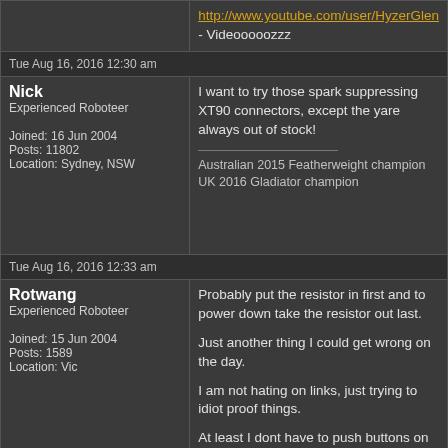http://www.youtube.com/user/HyzerGlen - Videooooozzz
Tue Aug 16, 2016 12:30 am
Nick
Experienced Roboteer
Joined: 16 Jun 2004
Posts: 11802
Location: Sydney, NSW
I want to try those spark suppressing XT90 connectors, except the yare always out of stock!

Australian 2015 Featherweight champion
UK 2016 Gladiator champion
Tue Aug 16, 2016 12:33 am
Rotwang
Experienced Roboteer
Joined: 15 Jun 2004
Posts: 1589
Location: Vic
Probably put the resistor in first and to power down take the resistor out last.

Just another thing I could get wrong on the day.

I am not hating on links, just trying to idiot proof things.

At least I dont have to push buttons on Dapters in these enlightened times.

Satisfaction is proportional to effort and results.
Tue Aug 16, 2016 8:38 am